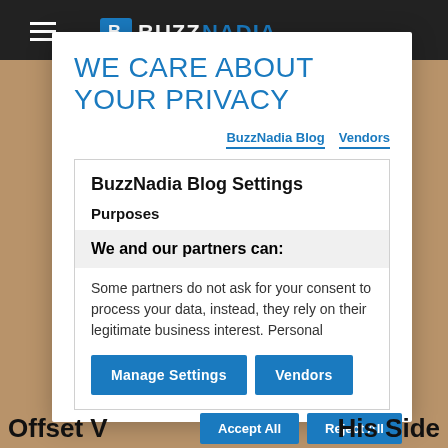[Figure (screenshot): Background of a BuzzNadia Blog website with dark top navigation bar and warm-toned content area, partially obscured by a privacy consent modal dialog.]
WE CARE ABOUT YOUR PRIVACY
BuzzNadia Blog   Vendors
BuzzNadia Blog Settings
Purposes
We and our partners can:
Some partners do not ask for your consent to process your data, instead, they rely on their legitimate business interest. Personal
Manage Settings   Vendors
Accept All   Reject All